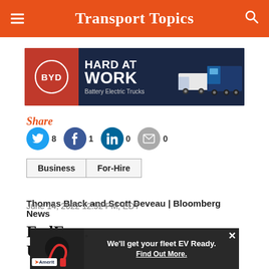Transport Topics
[Figure (illustration): BYD advertisement banner: BYD logo on red background on left, 'HARD AT WORK Battery Electric Trucks' text on dark blue background with trucks on right]
Share
Twitter: 8, Facebook: 1, LinkedIn: 0, Email: 0
Business  For-Hire
Thomas Black and Scott Deveau | Bloomberg News
June 14, 2022 12:52 PM, EDT
FedEx ... Up B...
[Figure (illustration): Amerit advertisement overlay: EV charging image on left, 'We'll get your fleet EV Ready. Find Out More.' text on dark background]